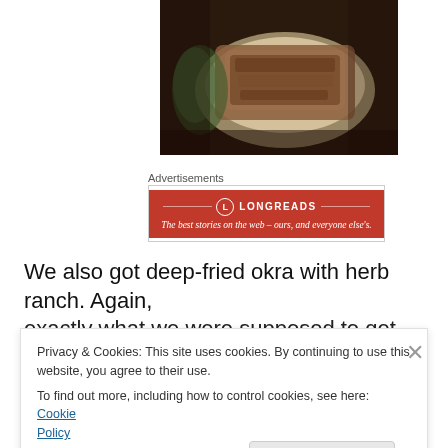[Figure (photo): Food photo showing fried items (likely fried chicken or similar) served on a white plate/dish against a dark background]
Advertisements
[Figure (other): Longreads advertisement banner: red background with logo and tagline 'The best stories on the web – ours, and everyone else's.']
We also got deep-fried okra with herb ranch. Again, exactly what we were supposed to get. The okra was fresh
Privacy & Cookies: This site uses cookies. By continuing to use this website, you agree to their use.
To find out more, including how to control cookies, see here: Cookie Policy
Close and accept